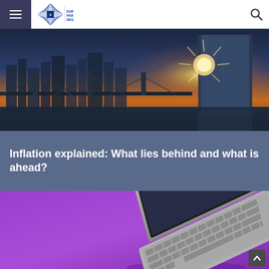European Parliamentary Research Service
[Figure (photo): City skyline at sunset with a bridge over water and a modern glass skyscraper with sunburst effect, Frankfurt ECB headquarters]
Inflation explained: What lies behind and what is ahead?
[Figure (photo): Laptop computer on a purple/violet background, viewed from above at an angle]